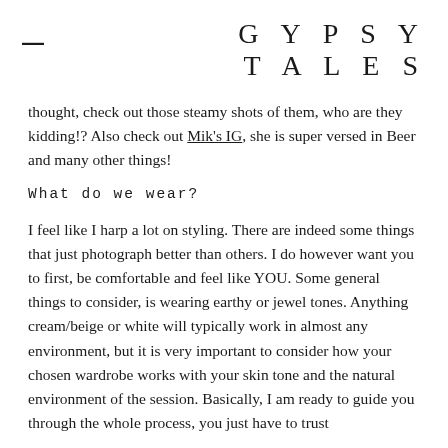GYPSY TALES
thought, check out those steamy shots of them, who are they kidding!? Also check out Mik's IG, she is super versed in Beer and many other things!
What do we wear?
I feel like I harp a lot on styling. There are indeed some things that just photograph better than others. I do however want you to first, be comfortable and feel like YOU. Some general things to consider, is wearing earthy or jewel tones. Anything cream/beige or white will typically work in almost any environment, but it is very important to consider how your chosen wardrobe works with your skin tone and the natural environment of the session. Basically, I am ready to guide you through the whole process, you just have to trust